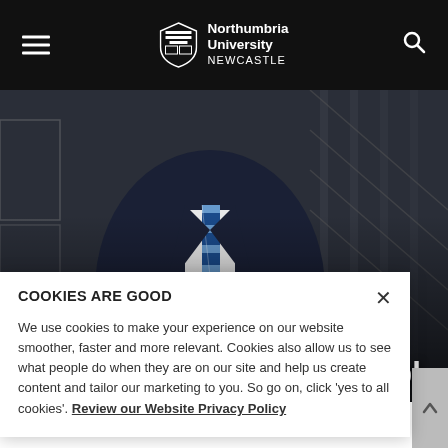Northumbria University NEWCASTLE
[Figure (photo): Hero image of a man in a dark suit adjusting his jacket, with a blue and white striped tie, wearing a watch. Background shows an escalator or staircase with glass panels.]
SM9636 - Strategic M...
COOKIES ARE GOOD
We use cookies to make your experience on our website smoother, faster and more relevant. Cookies also allow us to see what people do when they are on our site and help us create content and tailor our marketing to you. So go on, click 'yes to all cookies'. Review our Website Privacy Policy